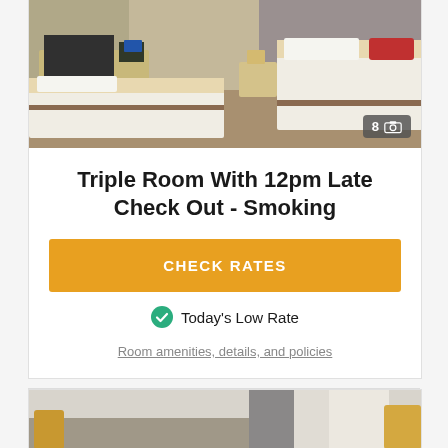[Figure (photo): Hotel triple room with three beds, wooden furniture, TV unit, beige carpet, curtains]
Triple Room With 12pm Late Check Out - Smoking
CHECK RATES
Today's Low Rate
Room amenities, details, and policies
[Figure (photo): Hotel room with bed, lamps, curtains, and window light]